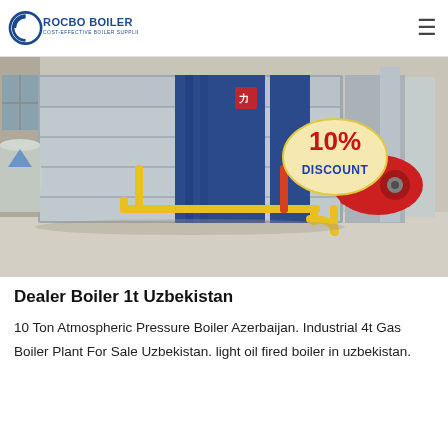ROCBO BOILER - COST-EFFECTIVE BOILER SUPPLIER
[Figure (photo): Industrial gas-fired boiler in a factory setting, large blue and silver unit with red burner and yellow gas pipes, 10% DISCOUNT badge overlay]
Dealer Boiler 1t Uzbekistan
10 Ton Atmospheric Pressure Boiler Azerbaijan. Industrial 4t Gas Boiler Plant For Sale Uzbekistan. light oil fired boiler in uzbekistan.